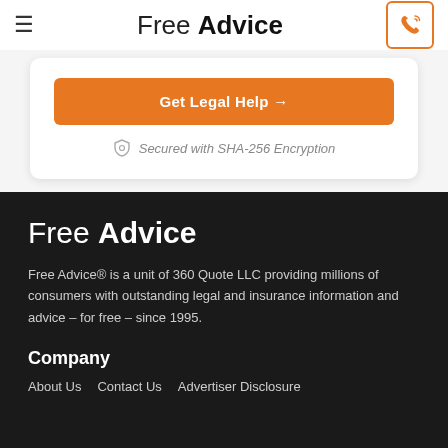Free Advice
Get Legal Help →
Secured with SHA-256 Encryption
Free Advice
Free Advice® is a unit of 360 Quote LLC providing millions of consumers with outstanding legal and insurance information and advice – for free – since 1995.
Company
About Us
Contact Us
Advertiser Disclosure